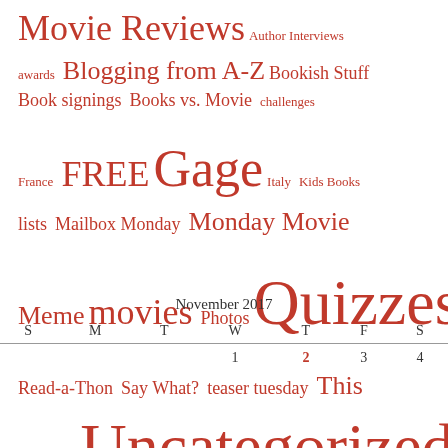[Figure (infographic): Tag cloud with blog category tags in red, varying font sizes indicating frequency. Tags include: Movie Reviews, Author Interviews, awards, Blogging from A-Z, Bookish Stuff, Book signings, Books vs. Movie, challenges, France, FREE, Gage, Italy, Kids Books, lists, Mailbox Monday, Monday Movie, Meme, movies, Photos, Quizzes, Read-a-Thon, Say What?, teaser tuesday, This Week, Uncategorized]
| S | M | T | W | T | F | S |
| --- | --- | --- | --- | --- | --- | --- |
|  |  |  | 1 | 2 | 3 | 4 |